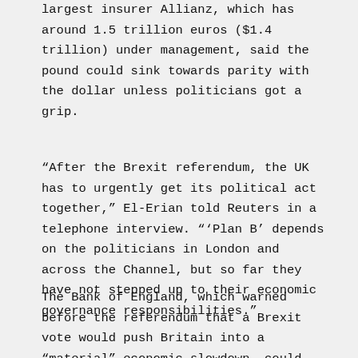largest insurer Allianz, which has around 1.5 trillion euros ($1.4 trillion) under management, said the pound could sink towards parity with the dollar unless politicians got a grip.
“After the Brexit referendum, the UK has to urgently get its political act together,” El-Erian told Reuters in a telephone interview. “‘Plan B’ depends on the politicians in London and across the Channel, but so far they have not stepped up to their economic governance responsibilities.”
The Bank of England, which warned before the referendum that a Brexit vote would push Britain into a “material” economic slowdown, could cut interest rates as soon as next Thursday.